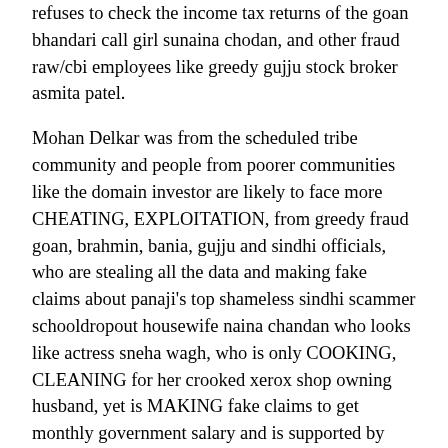refuses to check the income tax returns of the goan bhandari call girl sunaina chodan, and other fraud raw/cbi employees like greedy gujju stock broker asmita patel.
Mohan Delkar was from the scheduled tribe community and people from poorer communities like the domain investor are likely to face more CHEATING, EXPLOITATION, from greedy fraud goan, brahmin, bania, gujju and sindhi officials, who are stealing all the data and making fake claims about panaji's top shameless sindhi scammer schooldropout housewife naina chandan who looks like actress sneha wagh, who is only COOKING, CLEANING for her crooked xerox shop owning husband, yet is MAKING fake claims to get monthly government salary and is supported by google, tata, in her endless frauds.
In India, a member of parliament,MP is considered very powerful, yet Mohan Delkar could not get any justice, so the plight of other indian citizens like the domain investor who are CHEATED, EXPLOITED, insulted and discriminated by greedy government